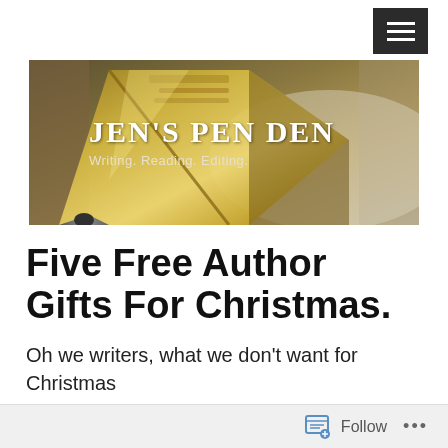[Figure (screenshot): Navigation bar with dark hamburger menu button (three white horizontal lines on dark background) in top right corner]
[Figure (photo): Banner image of a gold fountain pen nib close-up with text overlay: JEN'S PEN DEN and subtitle Writing. Reading. Editing.]
Five Free Author Gifts For Christmas.
Oh we writers, what we don't want for Christmas
Follow ...